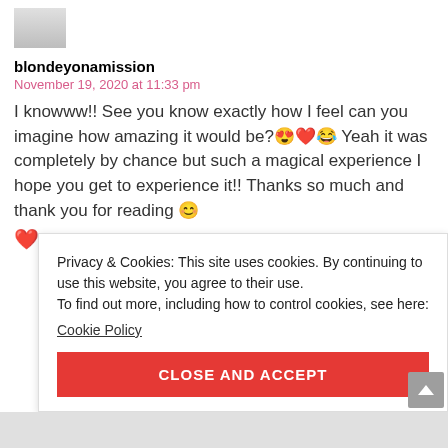[Figure (photo): Small avatar/profile photo thumbnail, partially visible at top]
blondeyonamission
November 19, 2020 at 11:33 pm
I knowww!! See you know exactly how I feel can you imagine how amazing it would be?😍❤️😂 Yeah it was completely by chance but such a magical experience I hope you get to experience it!! Thanks so much and thank you for reading 😊 ❤️
Privacy & Cookies: This site uses cookies. By continuing to use this website, you agree to their use.
To find out more, including how to control cookies, see here:
Cookie Policy
CLOSE AND ACCEPT